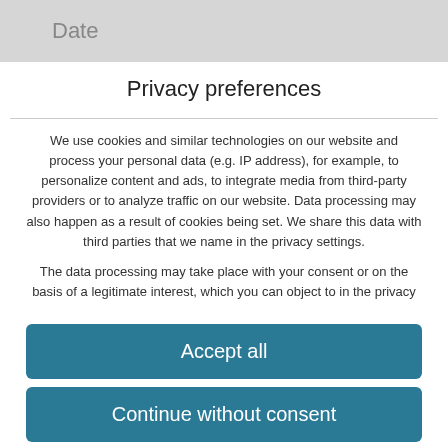Date
Privacy preferences
We use cookies and similar technologies on our website and process your personal data (e.g. IP address), for example, to personalize content and ads, to integrate media from third-party providers or to analyze traffic on our website. Data processing may also happen as a result of cookies being set. We share this data with third parties that we name in the privacy settings.
The data processing may take place with your consent or on the basis of a legitimate interest, which you can object to in the privacy
Accept all
Continue without consent
Set privacy settings individually
Privacy policy · Imprint
Consent Management Platform by Real Cookie Banner